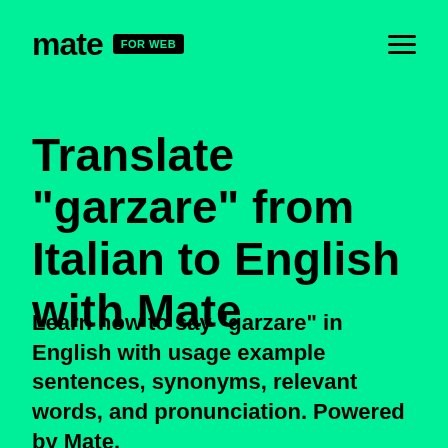mate FOR WEB
Translate "garzare" from Italian to English with Mate
Learn how to say "garzare" in English with usage example sentences, synonyms, relevant words, and pronunciation. Powered by Mate.